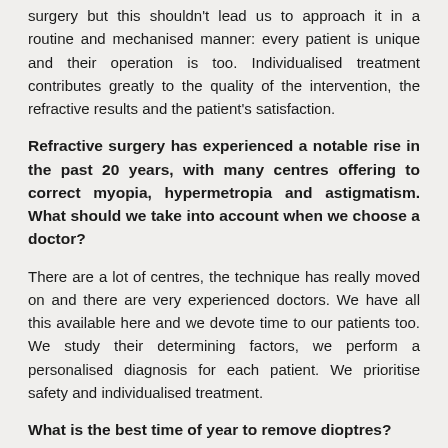surgery but this shouldn't lead us to approach it in a routine and mechanised manner: every patient is unique and their operation is too. Individualised treatment contributes greatly to the quality of the intervention, the refractive results and the patient's satisfaction.
Refractive surgery has experienced a notable rise in the past 20 years, with many centres offering to correct myopia, hypermetropia and astigmatism. What should we take into account when we choose a doctor?
There are a lot of centres, the technique has really moved on and there are very experienced doctors. We have all this available here and we devote time to our patients too. We study their determining factors, we perform a personalised diagnosis for each patient. We prioritise safety and individualised treatment.
What is the best time of year to remove dioptres?
It depends on the patient; it is impossible to make generalisations. In summer, we caution against using contact lenses at public swimming pools and we don't recommend their use in the sea either. This explains why a lot of people undergo this operation